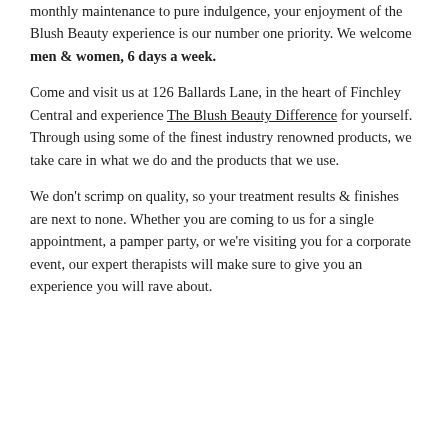monthly maintenance to pure indulgence, your enjoyment of the Blush Beauty experience is our number one priority. We welcome men & women, 6 days a week.
Come and visit us at 126 Ballards Lane, in the heart of Finchley Central and experience The Blush Beauty Difference for yourself. Through using some of the finest industry renowned products, we take care in what we do and the products that we use.
We don't scrimp on quality, so your treatment results & finishes are next to none. Whether you are coming to us for a single appointment, a pamper party, or we're visiting you for a corporate event, our expert therapists will make sure to give you an experience you will rave about.